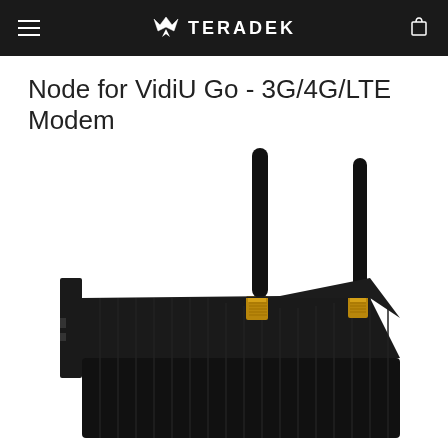TERADEK
Node for VidiU Go - 3G/4G/LTE Modem
[Figure (photo): Close-up photo of a Teradek Node 3G/4G/LTE modem device. The device is black with two black antenna sticks with gold SMA connectors attached on top. The body of the device has a ribbed/ridged surface texture. Navigation arrows (< and >) are visible on either side of the product image.]